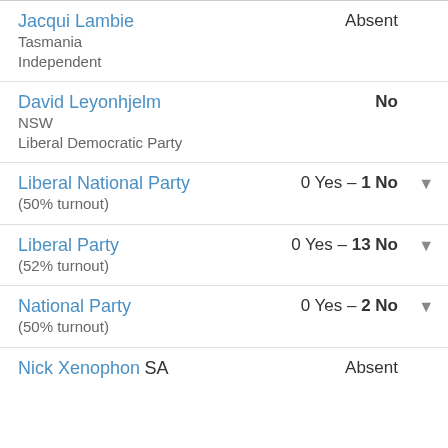Jacqui Lambie | Tasmania | Independent | Absent
David Leyonhjelm | NSW | Liberal Democratic Party | No
Liberal National Party | (50% turnout) | 0 Yes – 1 No
Liberal Party | (52% turnout) | 0 Yes – 13 No
National Party | (50% turnout) | 0 Yes – 2 No
Nick Xenophon SA | Absent